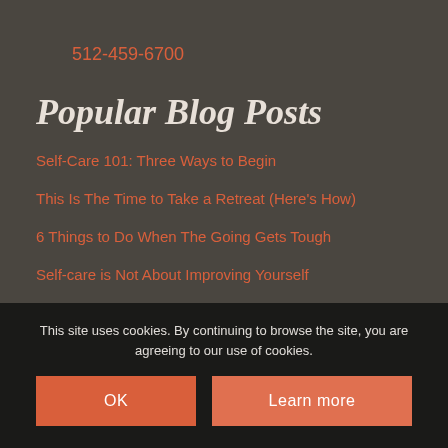512-459-6700
Popular Blog Posts
Self-Care 101: Three Ways to Begin
This Is The Time to Take a Retreat (Here's How)
6 Things to Do When The Going Gets Tough
Self-care is Not About Improving Yourself
Connection = Medicine. Are You Getting Your Daily Dose?
Pause. Are You Honoring Your Journey?
Quilting Or More: Are You Scheduling Something You Should?
Are You Nurturing Your Relationships Like You Should?
This site uses cookies. By continuing to browse the site, you are agreeing to our use of cookies.